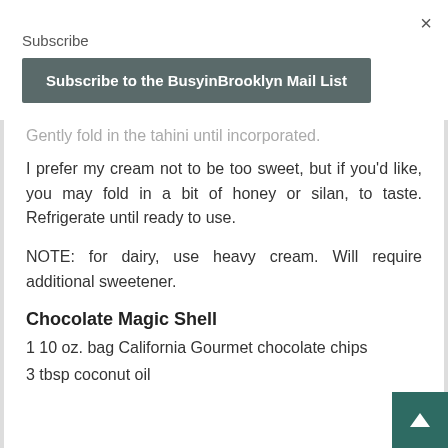×
Subscribe
Subscribe to the BusyinBrooklyn Mail List
Gently fold in the tahini until incorporated. I prefer my cream not to be too sweet, but if you'd like, you may fold in a bit of honey or silan, to taste. Refrigerate until ready to use.
NOTE: for dairy, use heavy cream. Will require additional sweetener.
Chocolate Magic Shell
1 10 oz. bag California Gourmet chocolate chips
3 tbsp coconut oil